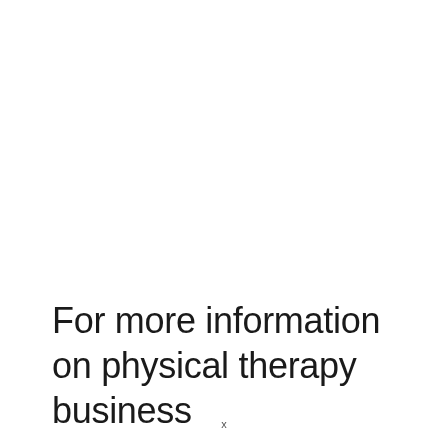For more information on physical therapy business
x